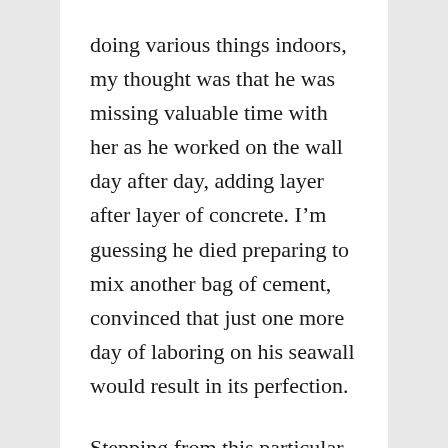doing various things indoors, my thought was that he was missing valuable time with her as he worked on the wall day after day, adding layer after layer of concrete. I'm guessing he died preparing to mix another bag of cement, convinced that just one more day of laboring on his seawall would result in its perfection.
Stepping from this particular image, I suppose another dangerous aspect to a routine of always doing and